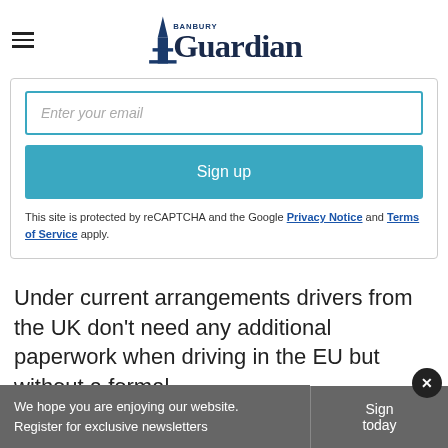Banbury Guardian
[Figure (screenshot): Email sign-up form with 'Enter your email' input field, 'Sign up' button, and reCAPTCHA notice with Privacy Notice and Terms of Service links]
This site is protected by reCAPTCHA and the Google Privacy Notice and Terms of Service apply.
Under current arrangements drivers from the UK don’t need any additional paperwork when driving in the EU but without a formal
We hope you are enjoying our website. Register for exclusive newsletters
Sign today